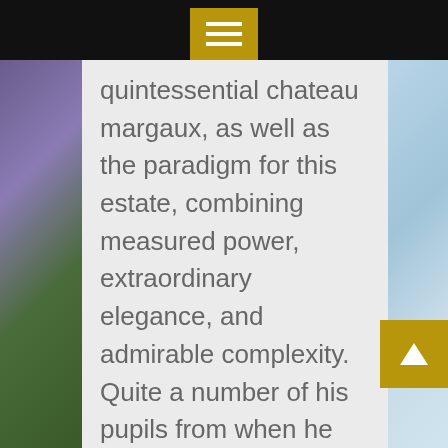[Figure (other): Golden hamburger menu icon button on black top navigation bar]
quintessential chateau margaux, as well as the paradigm for this estate, combining measured power, extraordinary elegance, and admirable complexity. Quite a number of his pupils from when he student taught came to his funeral and without credit card best and free dating online site in la all said he was a great teacher. It is a more potent opioid analgesic than morphine and is used for the relief of severe pain especially in terminal illnesses. Long time on the lees is very obvious from no credit card required cheapest dating online sites for men in dallas the deep flavours and great
[Figure (other): Golden scroll-to-top button with upward arrow on right side]